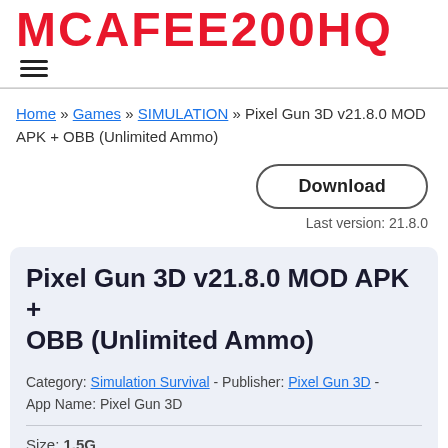MCAFEE200HQ
Home » Games » SIMULATION » Pixel Gun 3D v21.8.0 MOD APK + OBB (Unlimited Ammo)
Download
Last version: 21.8.0
Pixel Gun 3D v21.8.0 MOD APK + OBB (Unlimited Ammo)
Category: Simulation Survival - Publisher: Pixel Gun 3D - App Name: Pixel Gun 3D
Size: 1.5G